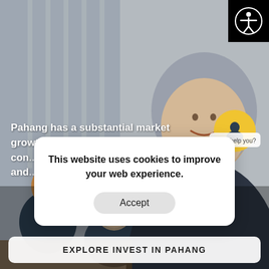[Figure (photo): Office meeting scene with a smiling woman in a grey hijab and dark blazer in the foreground, colleagues seated at a table in the background, in a conference room setting]
Pahang has a substantial market growth, con[tinuing to attract] [investment to ene]rgy and [related sectors]
[Figure (logo): PKNP logo badge - white text on dark blue background]
This website uses cookies to improve your web experience.
Accept
May I help you?
EXPLORE INVEST IN PAHANG